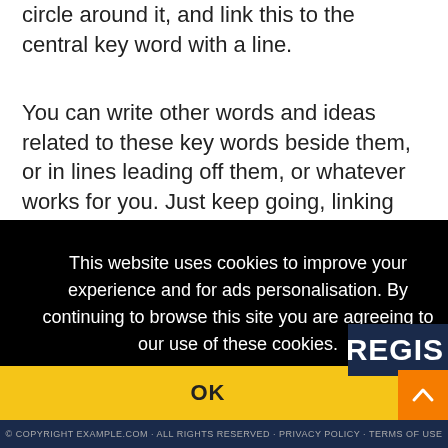circle around it, and link this to the central key word with a line.
You can write other words and ideas related to these key words beside them, or in lines leading off them, or whatever works for you. Just keep going, linking and relating ideas.
This website uses cookies to improve your experience and for ads personalisation. By continuing to browse this site you are agreeing to our use of these cookies. You can learn more about the cookies we use here.
OK